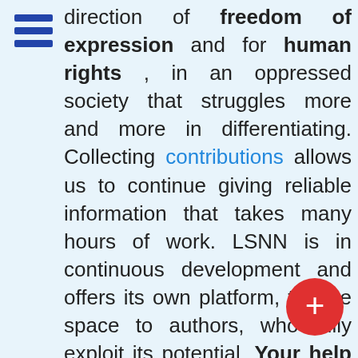[Figure (illustration): Blue hamburger menu icon with three horizontal bars]
direction of freedom of expression and for human rights , in an oppressed society that struggles more and more in differentiating. Collecting contributions allows us to continue giving reliable information that takes many hours of work. LSNN is in continuous development and offers its own platform, to give space to authors, who fully exploit its potential. Your help is also needed now more than ever!

In a world, where disinformation the main strategy, adopted to b able to act sometimes to the
[Figure (illustration): Red circular button with a white plus sign]